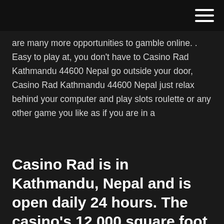≡
are many more opportunities to gamble online. . Easy to play at, you don't have to Casino Rad Kathmandu 44600 Nepal go outside your door, Casino Rad Kathmandu 44600 Nepal just relax behind your computer and play slots roulette or any other game you like as if you are in a
Casino Rad is in Kathmandu, Nepal and is open daily 24 hours. The casino's 12,000 square foot gaming space features sixteen gaming machines and twenty-one table games. The property has four restaurants, two bars and a